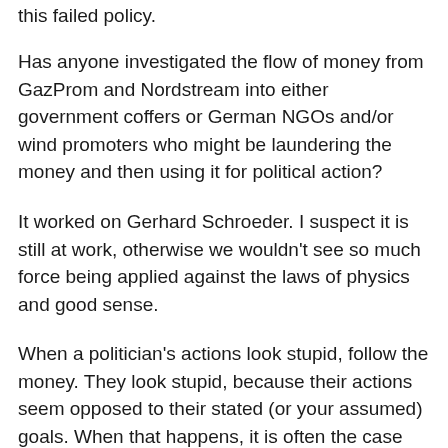this failed policy.
Has anyone investigated the flow of money from GazProm and Nordstream into either government coffers or German NGOs and/or wind promoters who might be laundering the money and then using it for political action?
It worked on Gerhard Schroeder. I suspect it is still at work, otherwise we wouldn't see so much force being applied against the laws of physics and good sense.
When a politician's actions look stupid, follow the money. They look stupid, because their actions seem opposed to their stated (or your assumed) goals. When that happens, it is often the case that they are doing a perfect job of pursuing their